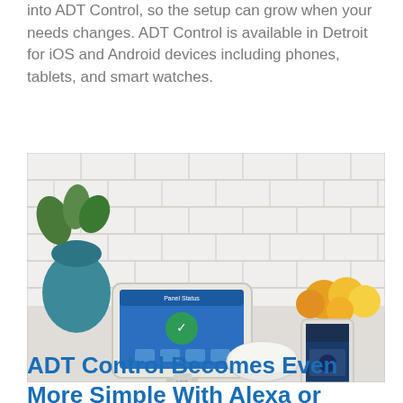into ADT Control, so the setup can grow when your needs changes. ADT Control is available in Detroit for iOS and Android devices including phones, tablets, and smart watches.
[Figure (photo): Photo of ADT smart home security system on a kitchen counter: a tablet-style touchscreen panel displaying the ADT Control app interface, a small round white smart hub/speaker, and a smartphone showing the ADT app, with a teal vase of plants on the left and fruits (oranges, lemons) on the right, white subway tile backsplash in background.]
ADT Control Becomes Even More Simple With Alexa or